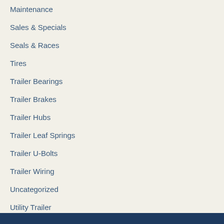Maintenance
Sales & Specials
Seals & Races
Tires
Trailer Bearings
Trailer Brakes
Trailer Hubs
Trailer Leaf Springs
Trailer U-Bolts
Trailer Wiring
Uncategorized
Utility Trailer
Winches